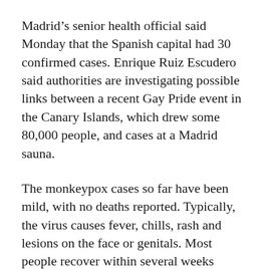Madrid's senior health official said Monday that the Spanish capital had 30 confirmed cases. Enrique Ruiz Escudero said authorities are investigating possible links between a recent Gay Pride event in the Canary Islands, which drew some 80,000 people, and cases at a Madrid sauna.
The monkeypox cases so far have been mild, with no deaths reported. Typically, the virus causes fever, chills, rash and lesions on the face or genitals. Most people recover within several weeks without requiring hospitalization.
Vaccines against smallpox, a related disease, are effective in preventing monkeypox and some antiviral drugs are being developed. In recent